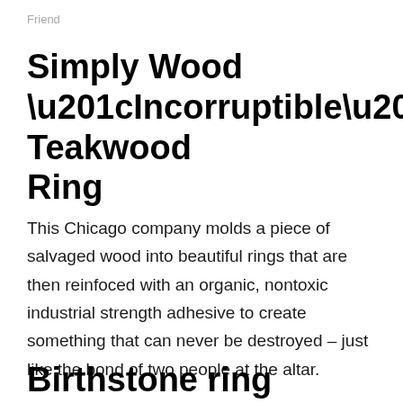Friend
Simply Wood “Incorruptible” Teakwood Ring
This Chicago company molds a piece of salvaged wood into beautiful rings that are then reinfoced with an organic, nontoxic industrial strength adhesive to create something that can never be destroyed – just like the bond of two people at the altar.
Birthstone ring